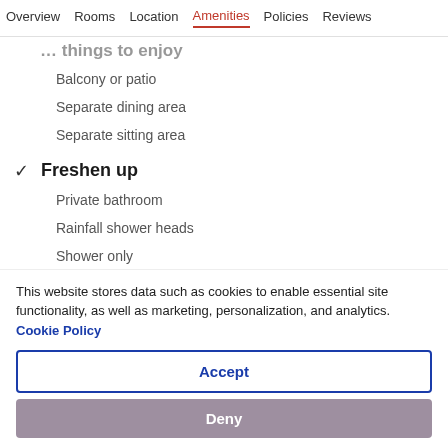Overview  Rooms  Location  Amenities  Policies  Reviews
… things to enjoy
Balcony or patio
Separate dining area
Separate sitting area
✓ Freshen up
Private bathroom
Rainfall shower heads
Shower only
This website stores data such as cookies to enable essential site functionality, as well as marketing, personalization, and analytics. Cookie Policy
Accept
Deny